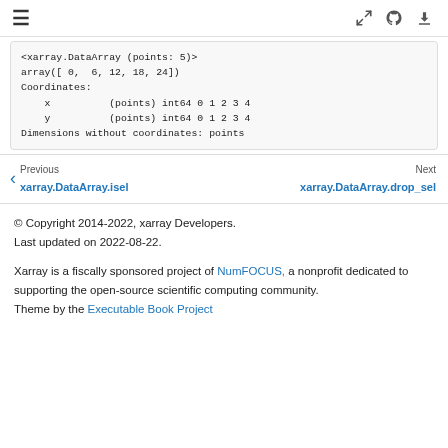≡ [fullscreen] [github] [download]
<xarray.DataArray (points: 5)>
array([ 0,  6, 12, 18, 24])
Coordinates:
    x          (points) int64 0 1 2 3 4
    y          (points) int64 0 1 2 3 4
Dimensions without coordinates: points
Previous
xarray.DataArray.isel
Next
xarray.DataArray.drop_sel
© Copyright 2014-2022, xarray Developers.
Last updated on 2022-08-22.

Xarray is a fiscally sponsored project of NumFOCUS, a nonprofit dedicated to supporting the open-source scientific computing community.
Theme by the Executable Book Project